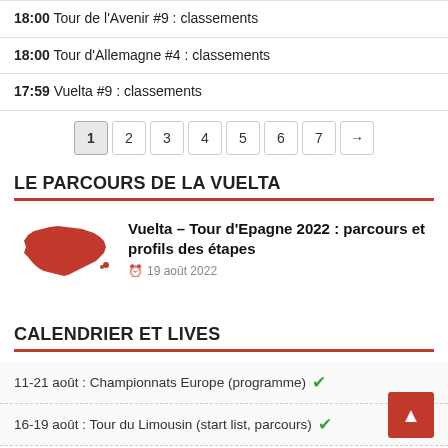18:00 Tour de l'Avenir #9 : classements
18:00 Tour d'Allemagne #4 : classements
17:59 Vuelta #9 : classements
1 2 3 4 5 6 7 →
LE PARCOURS DE LA VUELTA
[Figure (map): Red silhouette map of Spain]
Vuelta – Tour d'Epagne 2022 : parcours et profils des étapes
19 août 2022
CALENDRIER ET LIVES
11-21 août : Championnats Europe (programme) ✓
16-19 août : Tour du Limousin (start list, parcours) ✓